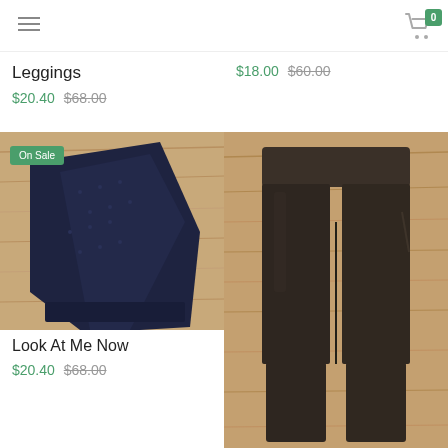Navigation bar with hamburger menu and cart (0 items)
Leggings
$20.40 $68.00
$18.00 $60.00
[Figure (photo): Close-up of dark navy textured leggings laid on wooden surface, with green 'On Sale' badge in top left corner]
Look At Me Now
$20.40 $68.00
[Figure (photo): Dark brown/olive faux leather high-waist leggings laid flat on wooden surface]